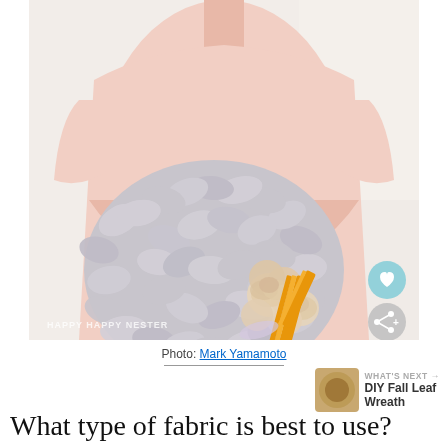[Figure (photo): A person wearing a pink dress holding a large handmade fabric wreath with gray fabric tufts and cream/peach roses with an orange striped ribbon. Watermark reads 'HAPPY HAPPY NESTER'. Heart and share icons visible in bottom right corner.]
Photo: Mark Yamamoto
WHAT'S NEXT → DIY Fall Leaf Wreath
What type of fabric is best to use?